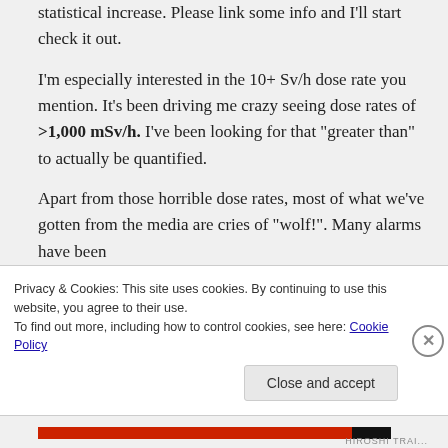statistical increase. Please link some info and I'll start check it out.
I'm especially interested in the 10+ Sv/h dose rate you mention. It's been driving me crazy seeing dose rates of >1,000 mSv/h. I've been looking for that “greater than” to actually be quantified.
Apart from those horrible dose rates, most of what we've gotten from the media are cries of “wolf!”. Many alarms have been
Privacy & Cookies: This site uses cookies. By continuing to use this website, you agree to their use.
To find out more, including how to control cookies, see here: Cookie Policy